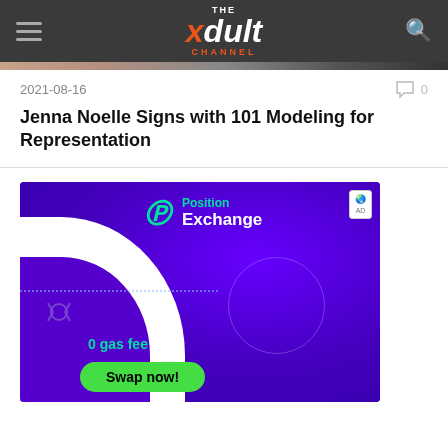THE xdult CHANNEL
2021-08-16
0
Jenna Noelle Signs with 101 Modeling for Representation
[Figure (illustration): Advertisement for Position Exchange showing purple branded background with 0 gas fee and Swap now button]